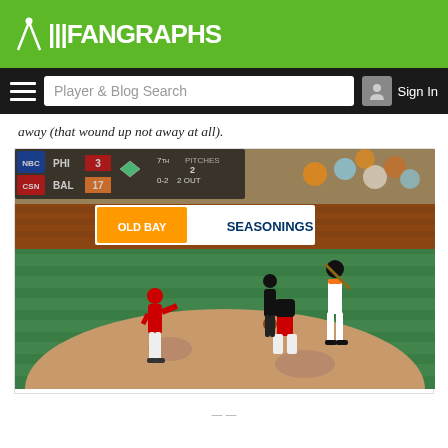FanGraphs
away (that wound up not away at all).
[Figure (photo): Baseball game screenshot showing a Philadelphia Phillies pitcher delivering a pitch, a catcher crouching behind the plate, and a Baltimore Orioles batter at bat. Scoreboard shows PHI 3, BAL 17, 7th inning, 0-2 count, 2 outs. An Old Bay Seasonings advertisement is visible on the outfield wall.]